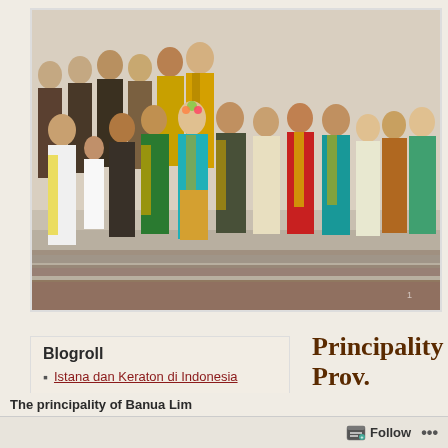[Figure (photo): Group photo of people in traditional Indonesian costumes and formal attire, standing in rows on steps in front of a building. Many wear colorful traditional dress with sashes.]
Blogroll
Istana dan Keraton di Indonesia
Sultan dan Raja di
Principality Prov. Kalima
The principality of Banua Lim
Follow